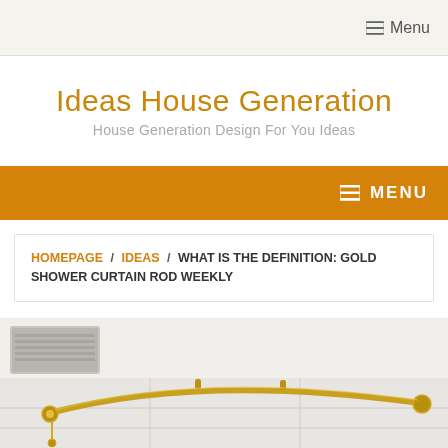☰ Menu
Ideas House Generation
House Generation Design For You Ideas
☰ MENU
HOMEPAGE / IDEAS / WHAT IS THE DEFINITION: GOLD SHOWER CURTAIN ROD WEEKLY
[Figure (photo): Gold curved shower curtain rod mounted on a white tiled bathroom wall, with a white ceiling and air conditioning unit visible in the background.]